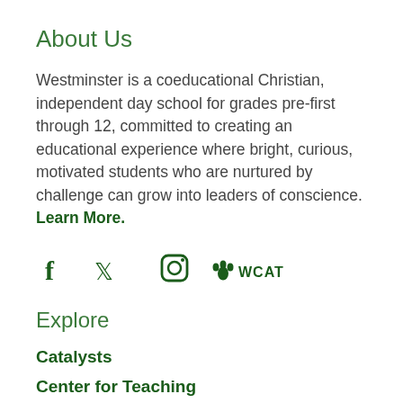About Us
Westminster is a coeducational Christian, independent day school for grades pre-first through 12, committed to creating an educational experience where bright, curious, motivated students who are nurtured by challenge can grow into leaders of conscience. Learn More.
[Figure (infographic): Social media icons row: Facebook (f), Twitter (bird), Instagram (camera), and paw print icon with WCAT label, all in dark green]
Explore
Catalysts
Center for Teaching
Employment